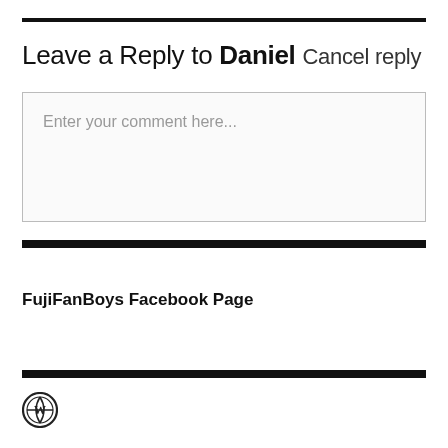Leave a Reply to Daniel Cancel reply
Enter your comment here...
FujiFanBoys Facebook Page
[Figure (logo): WordPress logo icon]